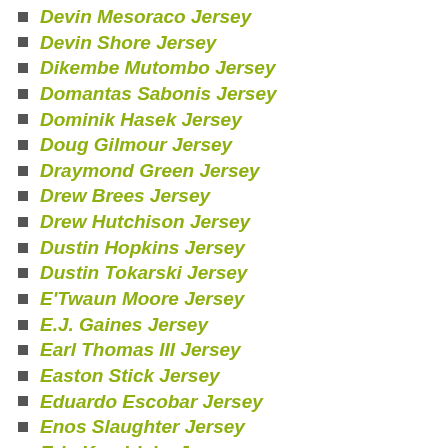Devin Mesoraco Jersey
Devin Shore Jersey
Dikembe Mutombo Jersey
Domantas Sabonis Jersey
Dominik Hasek Jersey
Doug Gilmour Jersey
Draymond Green Jersey
Drew Brees Jersey
Drew Hutchison Jersey
Dustin Hopkins Jersey
Dustin Tokarski Jersey
E'Twaun Moore Jersey
E.J. Gaines Jersey
Earl Thomas III Jersey
Easton Stick Jersey
Eduardo Escobar Jersey
Enos Slaughter Jersey
Eric Kendricks Jersey
Eric Weddle Jersey
Evan Gattis Jersey
Evan Rodrigues Jersey